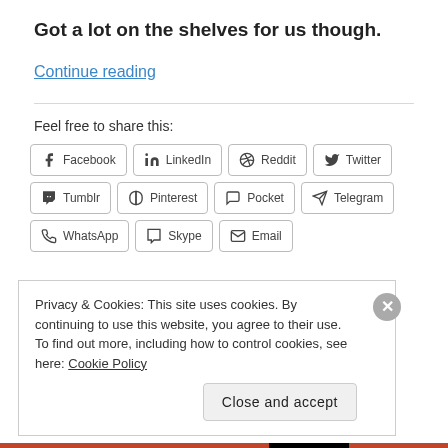Got a lot on the shelves for us though.
Continue reading
Feel free to share this:
[Figure (other): Row of social sharing buttons: Facebook, LinkedIn, Reddit, Twitter, Tumblr, Pinterest, Pocket, Telegram, WhatsApp, Skype, Email]
Privacy & Cookies: This site uses cookies. By continuing to use this website, you agree to their use. To find out more, including how to control cookies, see here: Cookie Policy
Close and accept